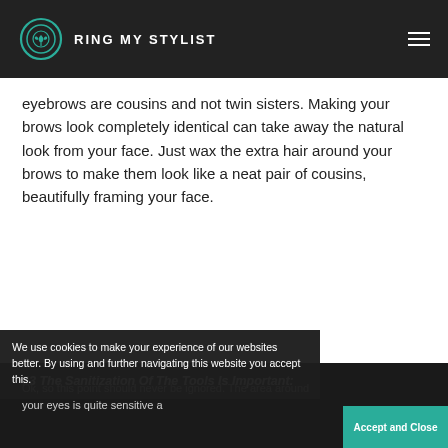RING MY STYLIST
eyebrows are cousins and not twin sisters. Making your brows look completely identical can take away the natural look from your face. Just wax the extra hair around your brows to make them look like a neat pair of cousins, beautifully framing your face.
#3 The Sanitization Of The Tools Is Important:
Ok, so this point should never be ignored. The area around your eyes is quite sensitive a...
We use cookies to make your experience of our websites better. By using and further navigating this website you accept this.